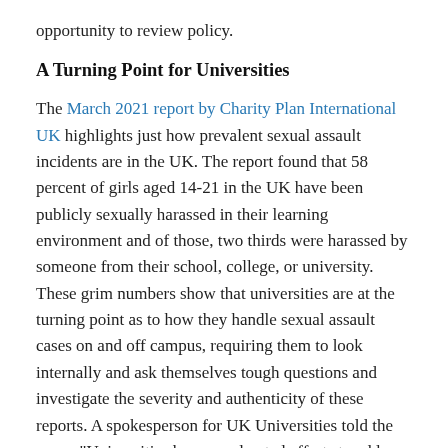opportunity to review policy.
A Turning Point for Universities
The March 2021 report by Charity Plan International UK highlights just how prevalent sexual assault incidents are in the UK. The report found that 58 percent of girls aged 14-21 in the UK have been publicly sexually harassed in their learning environment and of those, two thirds were harassed by someone from their school, college, or university. These grim numbers show that universities are at the turning point as to how they handle sexual assault cases on and off campus, requiring them to look internally and ask themselves tough questions and investigate the severity and authenticity of these reports. A spokesperson for UK Universities told the press, "Universities have accelerated efforts to address harassment and misconduct in recent years and are in